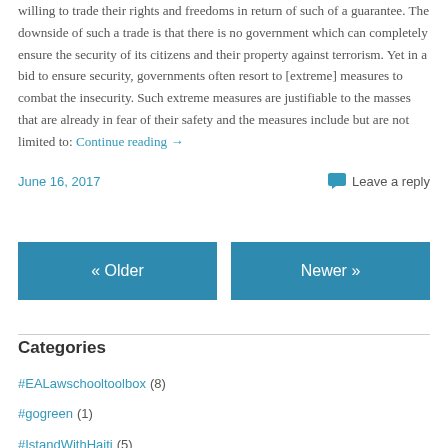willing to trade their rights and freedoms in return of such of a guarantee. The downside of such a trade is that there is no government which can completely ensure the security of its citizens and their property against terrorism. Yet in a bid to ensure security, governments often resort to [extreme] measures to combat the insecurity. Such extreme measures are justifiable to the masses that are already in fear of their safety and the measures include but are not limited to: Continue reading →
June 16, 2017
Leave a reply
« Older
Newer »
Categories
#EALawschooltoolbox (8)
#gogreen (1)
#IstandWithHaiti (5)